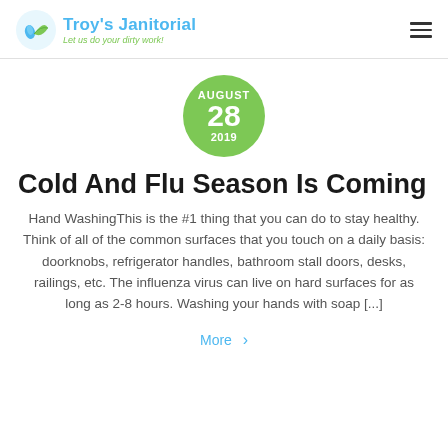Troy's Janitorial — Let us do your dirty work!
[Figure (other): Green circular date badge showing AUGUST 28 2019]
Cold And Flu Season Is Coming
Hand WashingThis is the #1 thing that you can do to stay healthy. Think of all of the common surfaces that you touch on a daily basis: doorknobs, refrigerator handles, bathroom stall doors, desks, railings, etc. The influenza virus can live on hard surfaces for as long as 2-8 hours. Washing your hands with soap [...]
More >